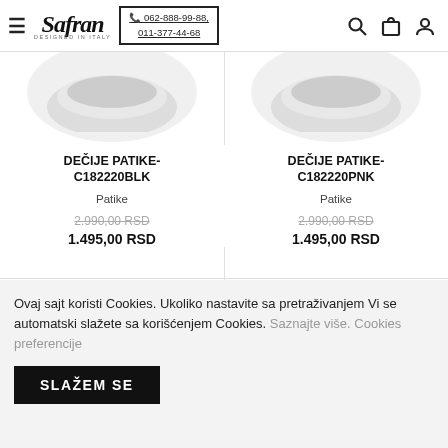Safran | 062-888-99-88, 011-377-44-68
[Figure (photo): Product image of DEČIJE PATIKE-C182220BLK sneakers (partially visible, top cropped)]
DEČIJE PATIKE-C182220BLK
Patike
2.990,00 RSD (strikethrough)
1.495,00 RSD
[Figure (photo): Product image of DEČIJE PATIKE-C182220PNK sneakers (partially visible, top cropped)]
DEČIJE PATIKE-C182220PNK
Patike
2.990,00 RSD (strikethrough)
1.495,00 RSD
Ovaj sajt koristi Cookies. Ukoliko nastavite sa pretraživanjem Vi se automatski slažete sa korišćenjem Cookies. Saznajte više. Cookies preferencije
SLAŽEM SE